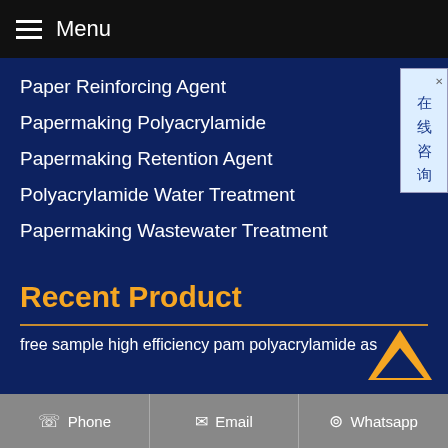Menu
Paper Reinforcing Agent
Papermaking Polyacrylamide
Papermaking Retention Agent
Polyacrylamide Water Treatment
Papermaking Wastewater Treatment
Recent Product
free sample high efficiency pam polyacrylamide as
Phone  Email  Whatsapp